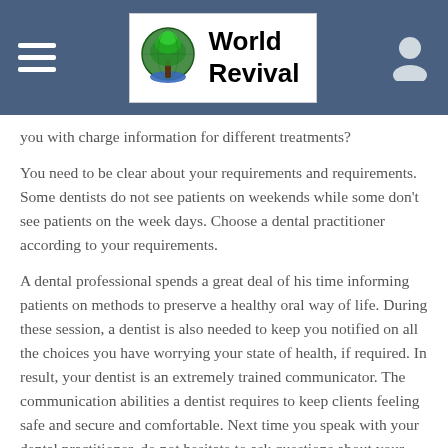World Revival
you with charge information for different treatments?
You need to be clear about your requirements and requirements. Some dentists do not see patients on weekends while some don't see patients on the week days. Choose a dental practitioner according to your requirements.
A dental professional spends a great deal of his time informing patients on methods to preserve a healthy oral way of life. During these session, a dentist is also needed to keep you notified on all the choices you have worrying your state of health, if required. In result, your dentist is an extremely trained communicator. The communication abilities a dentist requires to keep clients feeling safe and secure and comfortable. Next time you speak with your dental practitioner, do not hesitate to ask questions about your health or things you doubt about.